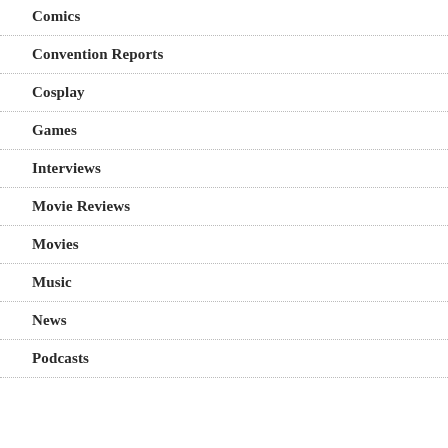Comics
Convention Reports
Cosplay
Games
Interviews
Movie Reviews
Movies
Music
News
Podcasts